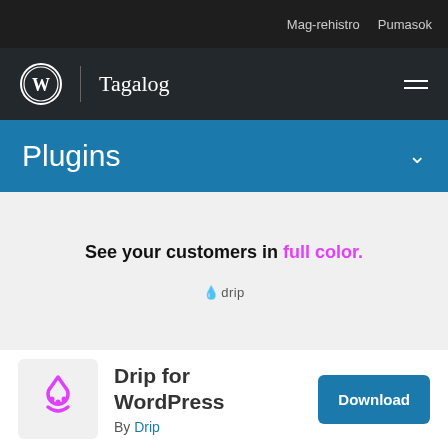Mag-rehistro  Pumasok
[Figure (logo): WordPress logo and Tagalog navigation bar with hamburger menu]
Plugins
[Figure (screenshot): Drip advertisement banner: 'See your customers in full color.' with Drip logo below]
Drip for WordPress
By Drip
Download